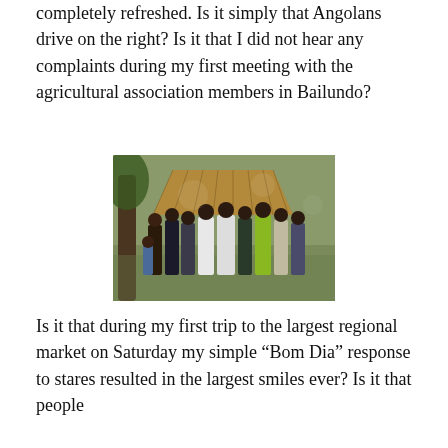completely refreshed. Is it simply that Angolans drive on the right? Is it that I did not hear any complaints during my first meeting with the agricultural association members in Bailundo?
[Figure (photo): Group photo of agricultural association members standing outdoors in front of a thatched-roof hut, surrounded by trees and dappled sunlight.]
Is it that during my first trip to the largest regional market on Saturday my simple “Bom Dia” response to stares resulted in the largest smiles ever? Is it that people